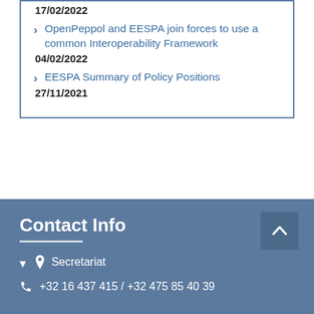17/02/2022
OpenPeppol and EESPA join forces to use a common Interoperability Framework
04/02/2022
EESPA Summary of Policy Positions
27/11/2021
Contact Info
Secretariat
+32 16 437 415 / +32 475 85 40 39